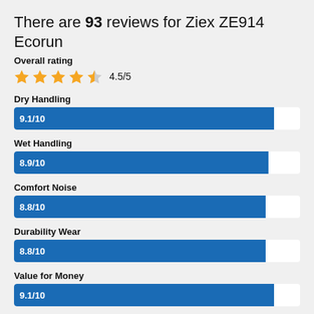There are 93 reviews for Ziex ZE914 Ecorun
Overall rating
[Figure (infographic): Star rating display showing 4.5 out of 5 stars with text '4.5/5']
[Figure (bar-chart): Category ratings for Ziex ZE914 Ecorun]